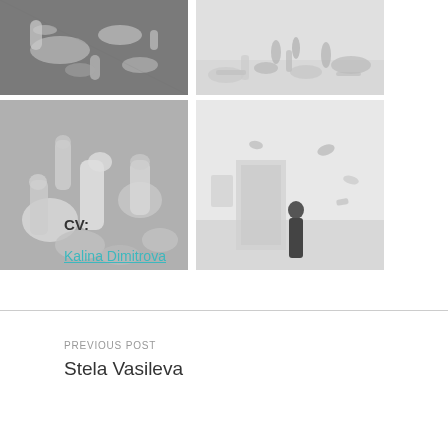[Figure (photo): Black and white photo of ceramic pharmaceutical-like pill and capsule shapes scattered, close-up overhead view]
[Figure (photo): Black and white photo of white ceramic sculptural forms arranged on a gallery floor, viewed from above]
[Figure (photo): Black and white close-up photo of white ceramic bottles, cylinders and containers piled together]
[Figure (photo): Black and white photo of a gallery interior with white ceramic objects suspended in air and a person standing holding one]
CV:
Kalina Dimitrova
PREVIOUS POST
Stela Vasileva